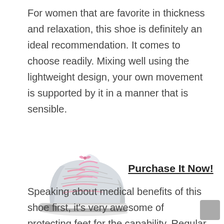For women that are favorite in thickness and relaxation, this shoe is definitely an ideal recommendation. It comes to choose readily. Mixing well using the lightweight design, your own movement is supported by it in a manner that is sensible.
[Figure (photo): A light grey and pink women's athletic/walking shoe with pink laces, viewed from the side.]
Purchase It Now!
Speaking about medical benefits of this shoe first, it's very awesome of protecting feet for the capability. Regular wearing this shoe is a fantastic